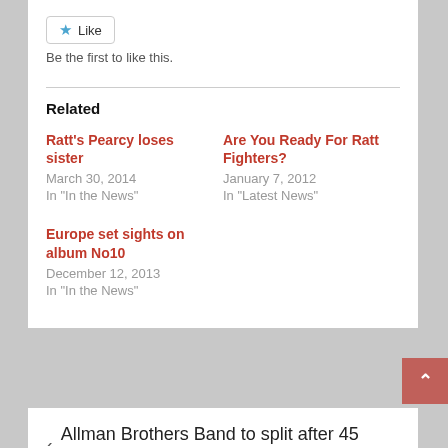Like
Be the first to like this.
Related
Ratt's Pearcy loses sister
March 30, 2014
In "In the News"
Are You Ready For Ratt Fighters?
January 7, 2012
In "Latest News"
Europe set sights on album No10
December 12, 2013
In "In the News"
‹ Allman Brothers Band to split after 45 years